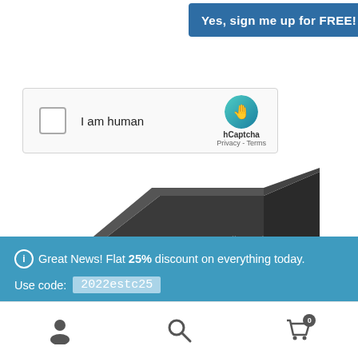[Figure (screenshot): Button labeled 'Yes, sign me up for FREE!' in blue]
[Figure (screenshot): hCaptcha widget with checkbox 'I am human', hCaptcha logo, Privacy and Terms links]
[Figure (photo): Partially visible dark laptop/device product image]
Great News! Flat 25% discount on everything today. Use code: 2022estc25 Dismiss
[Figure (screenshot): Bottom navigation bar with user icon, search icon, and cart icon showing 0 items]